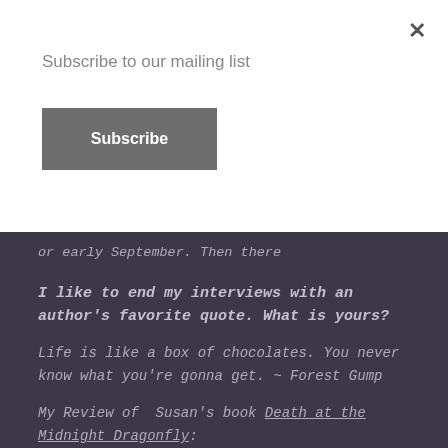Subscribe to our mailing list
Subscribe
or early September. Then there
I like to end my interviews with an author's favorite quote. What is yours?
Life is like a box of chocolates. You never know what you're gonna get. ~ Forest Gump
My Review of Susan's book Death at the Midnight Dragonfly:
This is the first I have read of Susan Boles LIlu Gaule